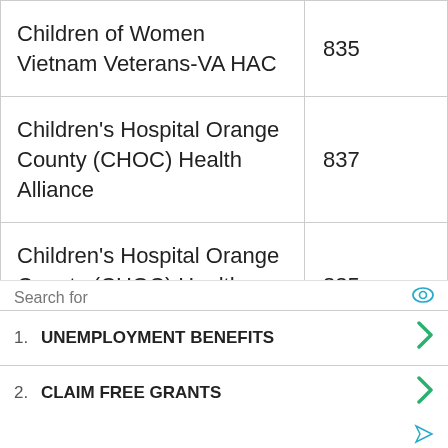| Name | Page |
| --- | --- |
| Children of Women Vietnam Veterans-VA HAC | 835 |
| Children's Hospital Orange County (CHOC) Health Alliance | 837 |
| Children's Hospital Orange County (CHOC) Health Alliance | 835 |
| Children's Community Health Pl... | 837 |